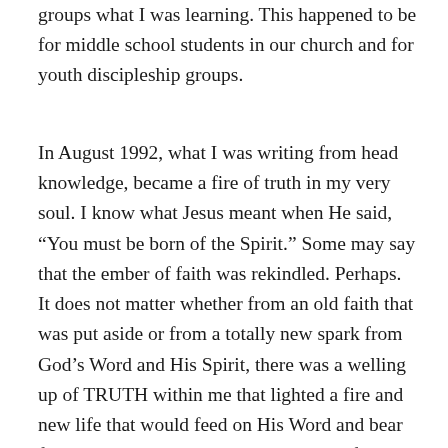groups what I was learning. This happened to be for middle school students in our church and for youth discipleship groups.
In August 1992, what I was writing from head knowledge, became a fire of truth in my very soul. I know what Jesus meant when He said, “You must be born of the Spirit.” Some may say that the ember of faith was rekindled. Perhaps. It does not matter whether from an old faith that was put aside or from a totally new spark from God’s Word and His Spirit, there was a welling up of TRUTH within me that lighted a fire and new life that would feed on His Word and bear fruit to this day. I vividly remember my first writing of TRUTH. It was more than my thoughts could contain.